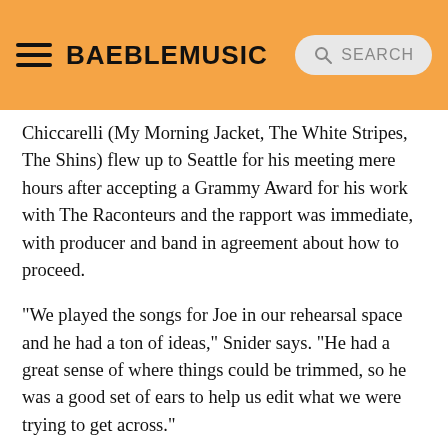BAEBLEMUSIC | SEARCH
Chiccarelli (My Morning Jacket, The White Stripes, The Shins) flew up to Seattle for his meeting mere hours after accepting a Grammy Award for his work with The Raconteurs and the rapport was immediate, with producer and band in agreement about how to proceed.
"We played the songs for Joe in our rehearsal space and he had a ton of ideas," Snider says. "He had a great sense of where things could be trimmed, so he was a good set of ears to help us edit what we were trying to get across."
On April 27, 2009, Minus the Bear began sessions at Seattle's Avast! Recording Studios, opting to take a more organic approach towards recording. A conscious effort was made to play together as much as possible, eschewing the usual scratch tracks and overdubs whenever possible.
"He was really awesome about wanting to find the perfect sound before we even started tracking the songs," Knudson says. "That